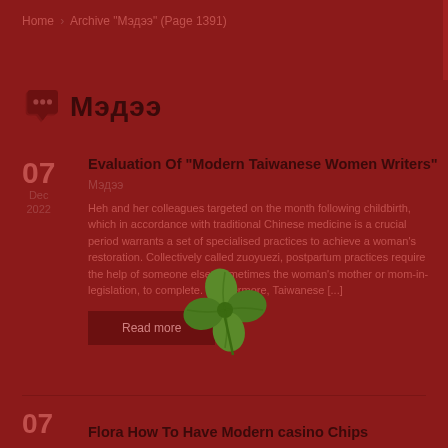Home › Archive "Мэдээ" (Page 1391)
Мэдээ
07 Dec 2022
Evaluation Of “Modern Taiwanese Women Writers”
Мэдээ
Heh and her colleagues targeted on the month following childbirth, which in accordance with traditional Chinese medicine is a crucial period warrants a set of specialised practices to achieve a woman's restoration. Collectively called zuoyuezi, postpartum practices require the help of someone else, sometimes the woman's mother or mom-in-legislation, to complete. Furthermore, Taiwanese [...]
Read more
Flora How To Have Modern casino Chips